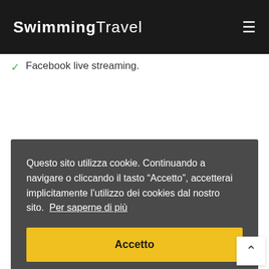SwimmingTravel
Facebook live streaming.
Questo sito utilizza cookie. Continuando a navigare o cliccando il tasto “Accetto”, accetterai implicitamente l’utilizzo dei cookies dal nostro sito. Per saperne di più
Accetto